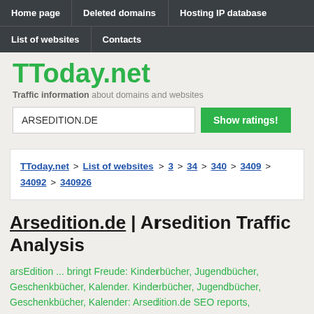Home page | Deleted domains | Hosting IP database | List of websites | Contacts
TToday.net
Traffic information about domains and websites
ARSEDITION.DE   Show ratings!
TToday.net > List of websites > 3 > 34 > 340 > 3409 > 34092 > 340926
Arsedition.de | Arsedition Traffic Analysis
arsEdition ... bringt Freude: Kinderbücher, Jugendbücher, Geschenkbücher, Kalender. Kinderbücher, Jugendbücher, Geschenkbücher, Kalender: Arsedition.de SEO reports,